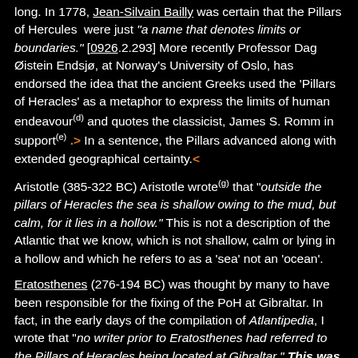long. In 1778, Jean-Silvain Bailly was certain that the Pillars of Hercules were just "a name that denotes limits or boundaries." [0926.2.293] More recently Professor Dag Øistein Endsjø, at Norway's University of Oslo, has endorsed the idea that the ancient Greeks used the 'Pillars of Heracles' as a metaphor to express the limits of human endeavour(d) and quotes the classicist, James S. Romm in support(e) .> In a sentence, the Pillars advanced along with extended geographical certainty.<
Aristotle (385-322 BC) Aristotle wrote(g) that "outside the pillars of Heracles the sea is shallow owing to the mud, but calm, for it lies in a hollow." This is not a description of the Atlantic that we know, which is not shallow, calm or lying in a hollow and which he refers to as a 'sea' not an 'ocean'.
Eratosthenes (276-194 BC) was thought by many to have been responsible for the fixing of the PoH at Gibraltar. In fact, in the early days of the compilation of Atlantipedia, I wrote that "no writer prior to Eratosthenes had referred to the Pillars of Heracles being located at Gibraltar." This was wrong and was the result of a combination of hastily